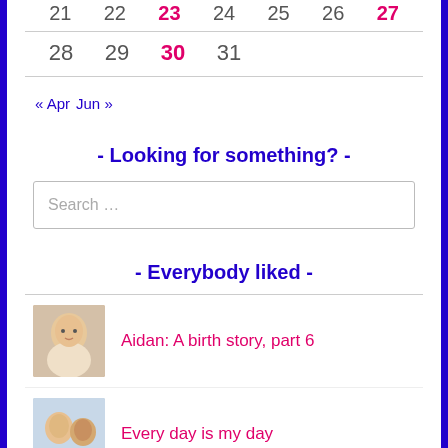| 21 | 22 | 23 | 24 | 25 | 26 | 27 |
| --- | --- | --- | --- | --- | --- | --- |
| 28 | 29 | 30 | 31 |  |  |  |
« Apr  Jun »
- Looking for something? -
Search …
- Everybody liked -
Aidan: A birth story, part 6
Every day is my day